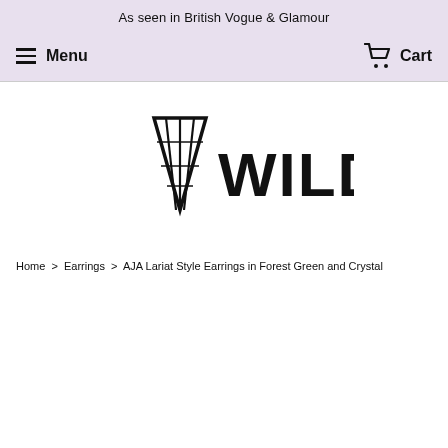As seen in British Vogue & Glamour
Menu  Cart
[Figure (logo): WILDI brand logo: geometric diamond/triangle shape on left with lines inside, followed by bold text 'WILDI']
Home > Earrings > AJA Lariat Style Earrings in Forest Green and Crystal